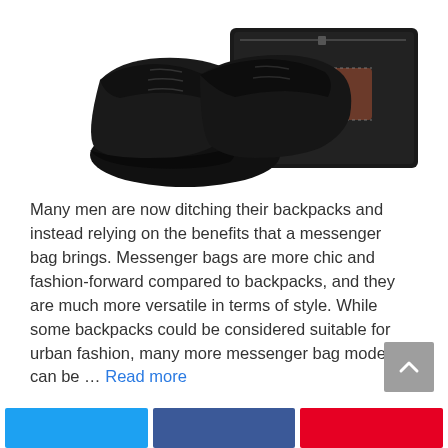[Figure (photo): Black leather dress shoes and a black leather messenger bag with brown accent patch, shown on white background]
Many men are now ditching their backpacks and instead relying on the benefits that a messenger bag brings. Messenger bags are more chic and fashion-forward compared to backpacks, and they are much more versatile in terms of style. While some backpacks could be considered suitable for urban fashion, many more messenger bag models can be … Read more